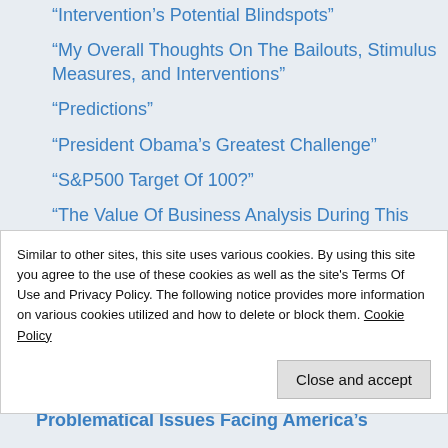“Intervention’s Potential Blindspots”
“My Overall Thoughts On The Bailouts, Stimulus Measures, and Interventions”
“Predictions”
“President Obama’s Greatest Challenge”
“S&P500 Target Of 100?”
“The Value Of Business Analysis During This Economic Malaise”
Blog Series
Similar to other sites, this site uses various cookies. By using this site you agree to the use of these cookies as well as the site’s Terms Of Use and Privacy Policy. The following notice provides more information on various cookies utilized and how to delete or block them. Cookie Policy
Problematical Issues Facing America’s